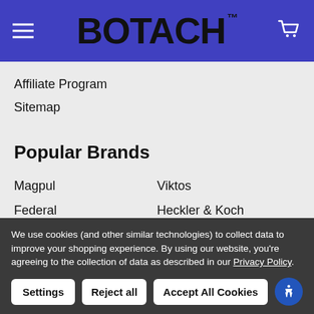BOTACH™
Affiliate Program
Sitemap
Popular Brands
Magpul
Viktos
Federal
Heckler & Koch
We use cookies (and other similar technologies) to collect data to improve your shopping experience. By using our website, you're agreeing to the collection of data as described in our Privacy Policy.
Settings | Reject all | Accept All Cookies